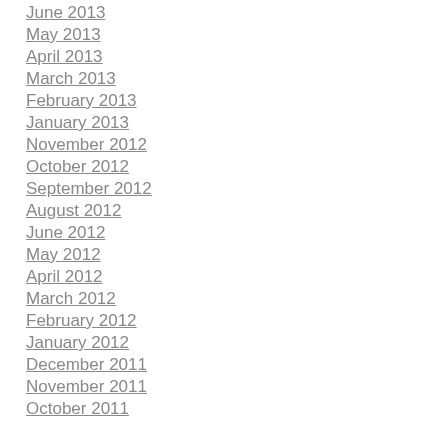June 2013
May 2013
April 2013
March 2013
February 2013
January 2013
November 2012
October 2012
September 2012
August 2012
June 2012
May 2012
April 2012
March 2012
February 2012
January 2012
December 2011
November 2011
October 2011